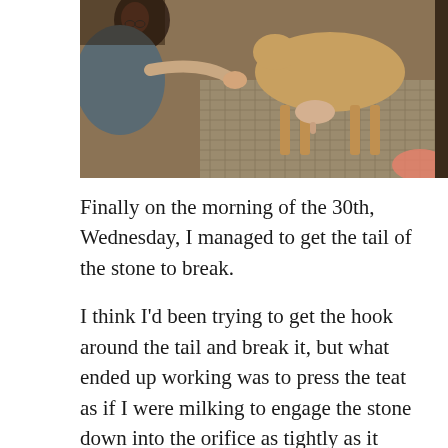[Figure (photo): A person kneeling and examining or milking a goat standing on a wire mesh surface. The goat is brown/tan colored. The setting appears to be a barn or farm enclosure.]
Finally on the morning of the 30th, Wednesday, I managed to get the tail of the stone to break.
I think I’d been trying to get the hook around the tail and break it, but what ended up working was to press the teat as if I were milking to engage the stone down into the orifice as tightly as it could go.  Then move my fingers down to the orifice to hold the stone